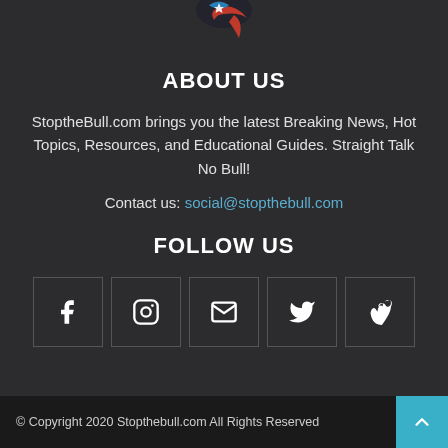[Figure (logo): StoptheBull.com logo partially visible at top — eagle/patriotic graphic with red, white, blue colors]
ABOUT US
StoptheBull.com brings you the latest Breaking News, Hot Topics, Resources, and Educational Guides. Straight Talk No Bull!
Contact us: social@stopthebull.com
FOLLOW US
[Figure (infographic): Five social media icon boxes in a row: Facebook (f), Instagram (circle camera), Email (envelope), Twitter (bird), Vimeo (V)]
© Copyright 2020 Stopthebull.com All Rights Reserved